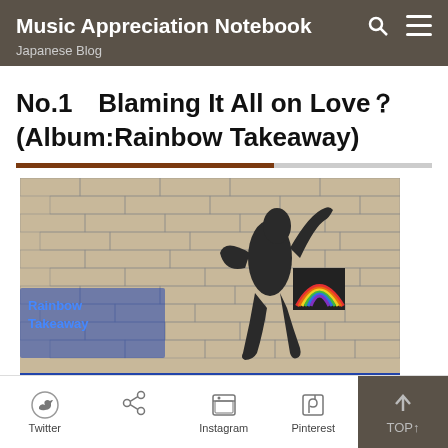Music Appreciation Notebook — Japanese Blog
No.1　Blaming It All on Love？ (Album:Rainbow Takeaway)
[Figure (photo): Album cover for Rainbow Takeaway: black and white photo of a person leaning against a brick wall holding a bag with a rainbow graphic on it, with blue text overlay at lower left.]
Twitter  　　  Instagram  Pinterest  TOP↑